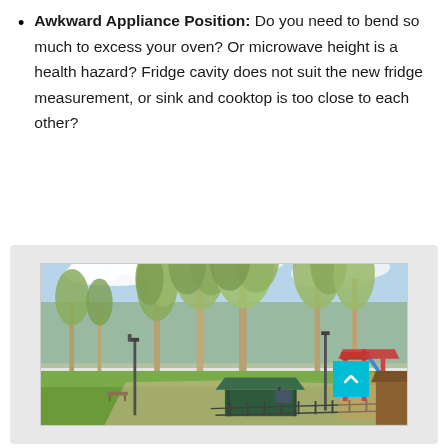Awkward Appliance Position: Do you need to bend so much to excess your oven? Or microwave height is a health hazard? Fridge cavity does not suit the new fridge measurement, or sink and cooktop is too close to each other?
[Figure (photo): Outdoor park scene with large eucalyptus trees, grassy area, walking paths, lamp posts, a covered shelter/pergola with dark green roof, playground equipment with colorful structures on the right side, and a partly cloudy blue sky. A small cyan/turquoise scroll-to-top button is visible in the bottom right corner.]